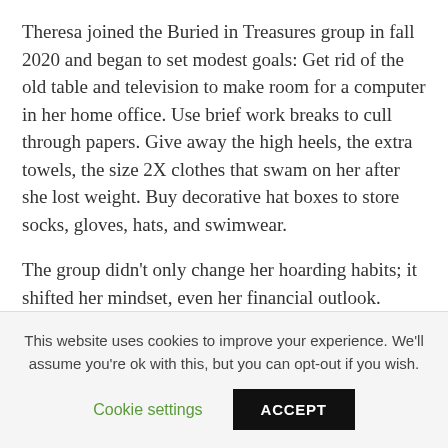Theresa joined the Buried in Treasures group in fall 2020 and began to set modest goals: Get rid of the old table and television to make room for a computer in her home office. Use brief work breaks to cull through papers. Give away the high heels, the extra towels, the size 2X clothes that swam on her after she lost weight. Buy decorative hat boxes to store socks, gloves, hats, and swimwear.
The group didn't only change her hoarding habits; it shifted her mindset, even her financial outlook. “Now I make a plan with an end goal,” Theresa says. When she considers a new purchase, she asks
This website uses cookies to improve your experience. We'll assume you're ok with this, but you can opt-out if you wish.
Cookie settings
ACCEPT